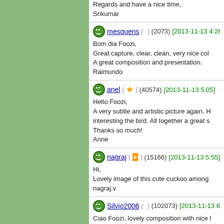Regards and have a nice time,
Srikumar
mesquens | ★ | (2073) [2013-11-13 4:26]
Bom dia Foozi,
Great capture, clear, clean, very nice col...
A great composition and presentation.
Raimundo
anel | ★ | (40574) [2013-11-13 5:05]
Hello Foozi,
A very subtle and artistic picture again. H...
interesting the bird. All together a great s...
Thanks so much!
Anne
nagraj | ★★ | (15166) [2013-11-13 5:55]
Hi,
Lovely image of this cute cuckoo among...
nagraj.v
Silvio2006 | ★★ | (102073) [2013-11-13 6:40]
Ciao Foozi, lovely composition with nice l...
splendid light, wonderful natural colors a...
Silvio
JoydebChaudhury | ★ | (7753) [2013-11-13...]